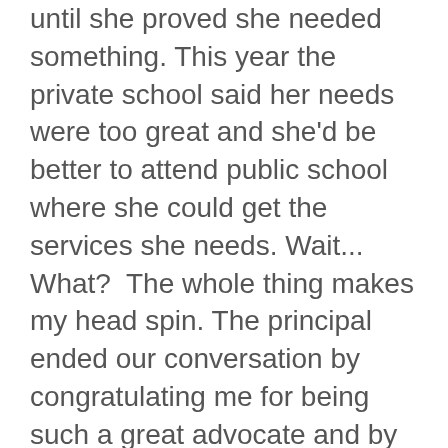until she proved she needed something. This year the private school said her needs were too great and she'd be better to attend public school where she could get the services she needs. Wait... What?  The whole thing makes my head spin. The principal ended our conversation by congratulating me for being such a great advocate and by being honest about her needs. His kind words were intended to help me feel better and help soften the blow of once again being denied. I thanked him, hung up the phone and snickered as that dumb mis-fit song started playing in my head again.

So, here we are back to the public